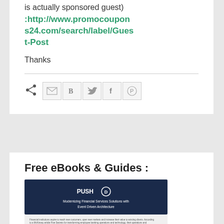is actually sponsored guest) :http://www.promocoupons24.com/search/label/Guest-Post
Thanks
[Figure (other): Share buttons row: share icon, Email (M), Blogger (B), Twitter (bird), Facebook (f), Pinterest (P)]
Free eBooks & Guides :
[Figure (other): Book cover thumbnail: PUSH Technology - Modernizing Financial Services Solutions with Event Driven Architecture]